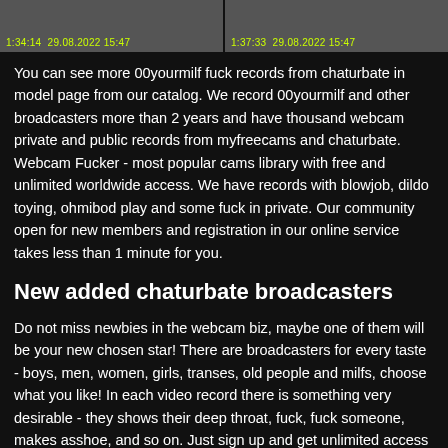[Figure (photo): Two video thumbnail images side by side with timestamps and dates shown in yellow-green text: '1:34:14  29.08.2022 15:47' and '1:37:33  29.08.2022 15:47']
You can see more 00yourmilf fuck records from chaturbate in model page from our catalog. We record 00yourmilf and other broadcasters more than 2 years and have thousand webcam private and public records from myfreecams and chaturbate. Webcam Fucker - most popular cams library with free and unlimited worldwide access. We have records with blowjob, dildo toying, ohmibod play and some fuck in private. Our community open for new members and registration in our online service takes less than 1 minute for you.
New added chaturbate broadcasters
Do not miss newbies in the webcam biz, maybe one of them will be your new chosen star! There are broadcasters for every taste - boys, men, women, girls, transes, old people and milfs, choose what you like! In each video record there is something very desirable - they shows their deep throat, fuck, fuck someone, makes asshoe, and so on. Just sign up and get unlimited access to this world of lust!